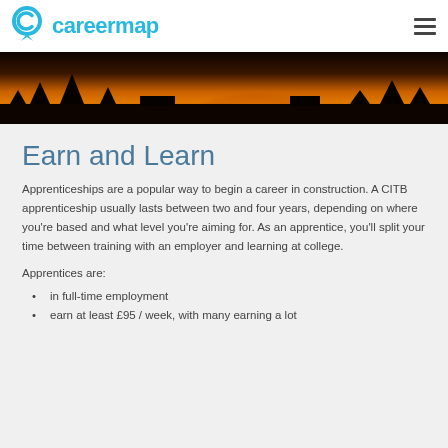careermap
[Figure (photo): Sunset/silhouette outdoor construction or landscape scene with warm orange glow]
Earn and Learn
Apprenticeships are a popular way to begin a career in construction. A CITB apprenticeship usually lasts between two and four years, depending on where you're based and what level you're aiming for. As an apprentice, you'll split your time between training with an employer and learning at college.
Apprentices are:
in full-time employment
earn at least £95 / week, with many earning a lot